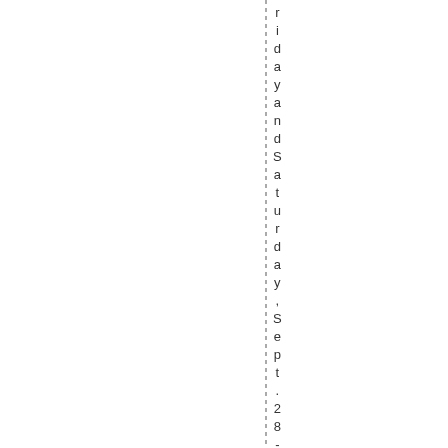Friday and Saturday, Sept. 28 - Sept 3